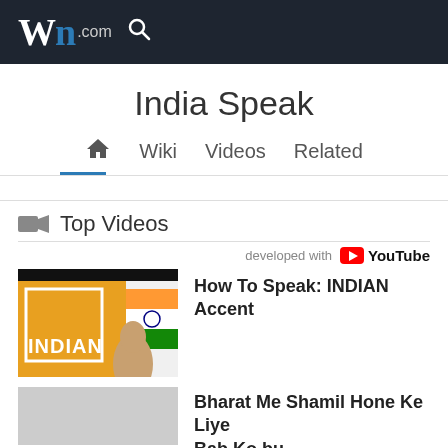Wn.com [search icon]
India Speak
Home  Wiki  Videos  Related
Top Videos
developed with YouTube
How To Speak: INDIAN Accent
[Figure (photo): Thumbnail of a young man in front of an Indian flag with text INDIAN overlay]
Bharat Me Shamil Hone Ke Liye...